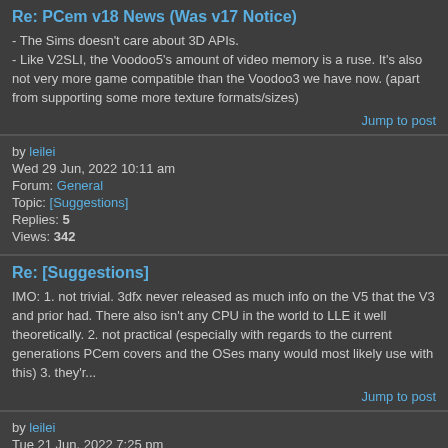Re: PCem v18 News (Was v17 Notice)
- The Sims doesn't care about 3D APIs.
- Like V2SLI, the Voodoo5's amount of video memory is a ruse. It's also not very more game compatible than the Voodoo3 we have now. (apart from supporting some more texture formats/sizes)
Jump to post
by leilei
Wed 29 Jun, 2022 10:11 am
Forum: General
Topic: [Suggestions]
Replies: 5
Views: 342
Re: [Suggestions]
IMO: 1. not trivial. 3dfx never released as much info on the V5 that the V3 and prior had. There also isn't any CPU in the world to LLE it well theoretically. 2. not practical (especially with regards to the current generations PCem covers and the OSes many would most likely use with this) 3. they'r...
Jump to post
by leilei
Tue 21 Jun, 2022 7:25 pm
Forum: General
Topic: PCem v18 News (Was v17 Notice)